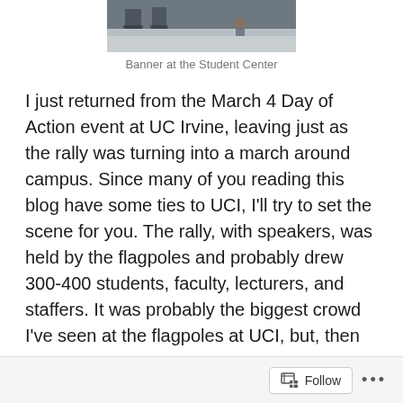[Figure (photo): Photo of a banner at the Student Center, showing chairs and a person in the background on a light-colored surface]
Banner at the Student Center
I just returned from the March 4 Day of Action event at UC Irvine, leaving just as the rally was turning into a march around campus. Since many of you reading this blog have some ties to UCI, I'll try to set the scene for you. The rally, with speakers, was held by the flagpoles and probably drew 300-400 students, faculty, lecturers, and staffers. It was probably the biggest crowd I've seen at the flagpoles at UCI, but, then again, it also didn't completely drown out the frats recruiting on Ring Road, either.   I'll skip a general discussion of the speeches given, only to say that they really did get the crowd excited, that the recognition of race issues was a highlight, and that, while I admire
Follow ...